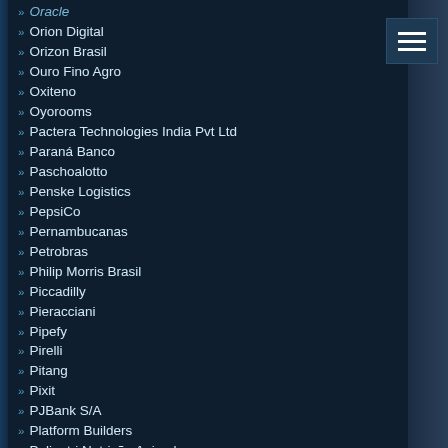Oracle
Orion Digital
Orizon Brasil
Ouro Fino Agro
Oxiteno
Oyorooms
Pactera Technologies India Pvt Ltd
Paraná Banco
Paschoalotto
Penske Logistics
PepsiCo
Pernambucanas
Petrobras
Philip Morris Brasil
Piccadilly
Pieracciani
Pipefy
Pirelli
Pitang
Pixit
PJBank S/A
Platform Builders
Polinutri Nutrição Animal
Porto Seguro
Positivo Central
Positivo Tecnologia
Prime Informática
Processor SA
Procter&Gamble